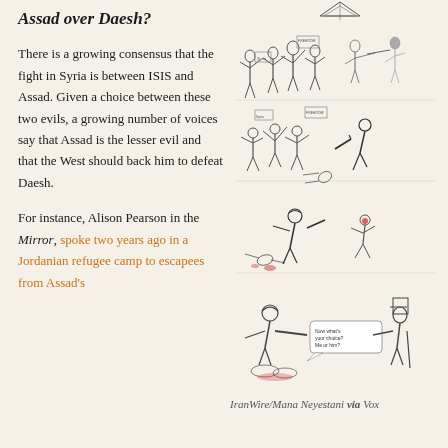Assad over Daesh?
There is a growing consensus that the fight in Syria is between ISIS and Assad. Given a choice between these two evils, a growing number of voices say that Assad is the lesser evil and that the West should back him to defeat Daesh.
For instance, Alison Pearson in the Mirror, spoke two years ago in a Jordanian refugee camp to escapees from Assad's
[Figure (illustration): Political cartoon by IranWire/Mana Neyestani via Vox showing four panels: protesters with freedom signs, soldiers attacking protesters, armed militants committing violence, and a figure asking 'Now what's your choice? Me or him?' representing the false choice between Assad and Daesh.]
IranWire/Mana Neyestani via Vox